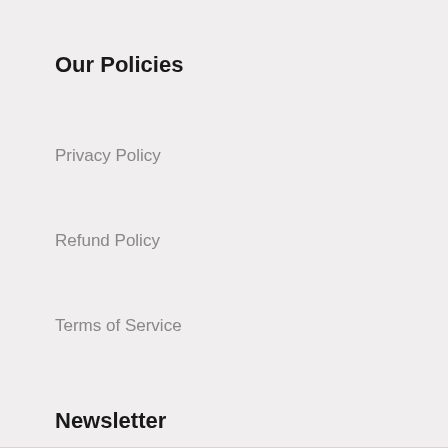Our Policies
Privacy Policy
Refund Policy
Terms of Service
Newsletter
Email address  SUBSCRIBE